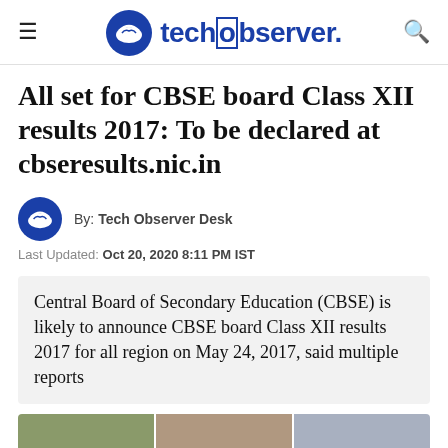techobserver.
All set for CBSE board Class XII results 2017: To be declared at cbseresults.nic.in
By: Tech Observer Desk
Last Updated: Oct 20, 2020 8:11 PM IST
Central Board of Secondary Education (CBSE) is likely to announce CBSE board Class XII results 2017 for all region on May 24, 2017, said multiple reports
[Figure (photo): Students in an examination hall, shown in three panel strips]